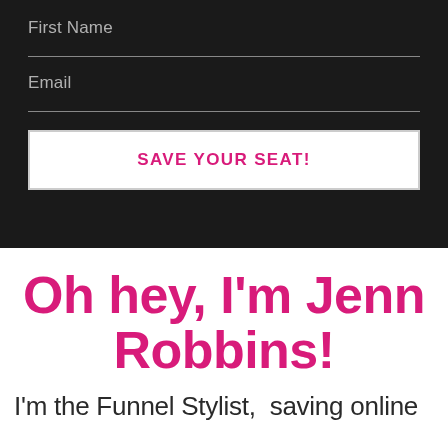First Name
Email
SAVE YOUR SEAT!
Oh hey, I'm Jenn Robbins!
I'm the Funnel Stylist,  saving online